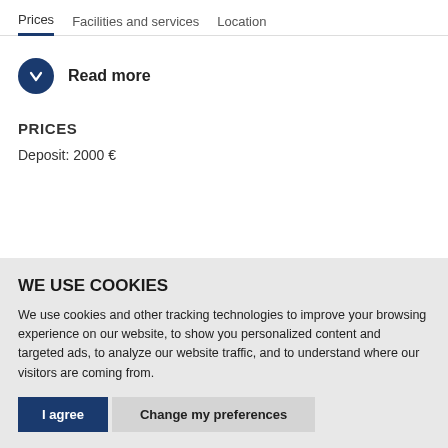Prices | Facilities and services | Location
Read more
PRICES
Deposit: 2000 €
WE USE COOKIES
We use cookies and other tracking technologies to improve your browsing experience on our website, to show you personalized content and targeted ads, to analyze our website traffic, and to understand where our visitors are coming from.
I agree | Change my preferences